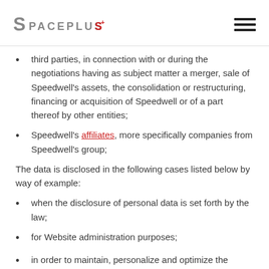SPACEPLUS
third parties, in connection with or during the negotiations having as subject matter a merger, sale of Speedwell's assets, the consolidation or restructuring, financing or acquisition of Speedwell or of a part thereof by other entities;
Speedwell's affiliates, more specifically companies from Speedwell's group;
The data is disclosed in the following cases listed below by way of example:
when the disclosure of personal data is set forth by the law;
for Website administration purposes;
in order to maintain, personalize and optimize the